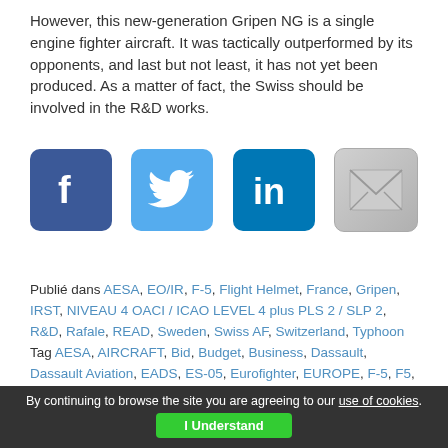However, this new-generation Gripen NG is a single engine fighter aircraft. It was tactically outperformed by its opponents, and last but not least, it has not yet been produced. As a matter of fact, the Swiss should be involved in the R&D works.
[Figure (illustration): Four social media sharing icons: Facebook (blue), Twitter (light blue), LinkedIn (dark blue), and Email/mail (gray)]
Publié dans AESA, EO/IR, F-5, Flight Helmet, France, Gripen, IRST, NIVEAU 4 OACI / ICAO LEVEL 4 plus PLS 2 / SLP 2, R&D, Rafale, READ, Sweden, Swiss AF, Switzerland, Typhoon
Tag AESA, AIRCRAFT, Bid, Budget, Business, Dassault, Dassault Aviation, EADS, ES-05, Eurofighter, EUROPE, F-5, F5, FIGHTER aircraft, FIGHTERS, Flight helmet, France, French, Gripen, Gripen Demo, Gripen NG, HMSD, JAS 39,
By continuing to browse the site you are agreeing to our use of cookies. I Understand